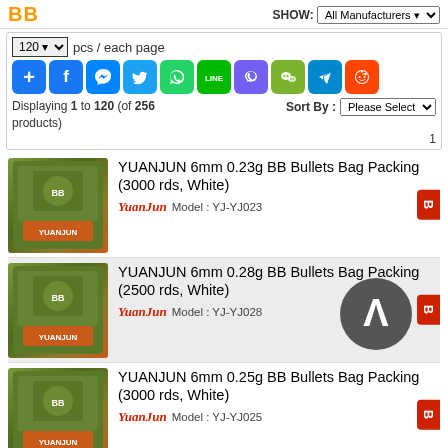BB  SHOW: All Manufacturers
120 pcs / each page
[Figure (screenshot): Row of social media share icons: Add, Facebook, Messenger, Twitter, WhatsApp, LINE, Viber, WeChat, Telegram, Reddit]
Displaying 1 to 120 (of 256 products)  Sort By: Please Select   1
YUANJUN 6mm 0.23g BB Bullets Bag Packing (3000 rds, White)
YuanJun  Model : YJ-YJ023
YUANJUN 6mm 0.28g BB Bullets Bag Packing (2500 rds, White)
YuanJun  Model : YJ-YJ028
YUANJUN 6mm 0.25g BB Bullets Bag Packing (3000 rds, White)
YuanJun  Model : YJ-YJ025